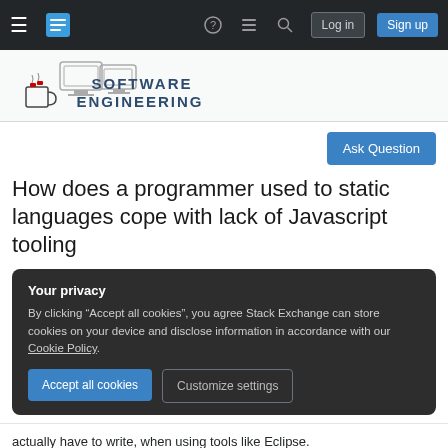Software Engineering Stack Exchange — navigation bar with Log in and Sign up buttons
[Figure (logo): Software Engineering Stack Exchange site logo with cartoon computer and coffee mug illustration and text 'SOFTWARE ENGINEERING']
Ask Question
How does a programmer used to static languages cope with lack of Javascript tooling
Your privacy
By clicking "Accept all cookies", you agree Stack Exchange can store cookies on your device and disclose information in accordance with our Cookie Policy.
Accept all cookies
Customize settings
actually have to write, when using tools like Eclipse.